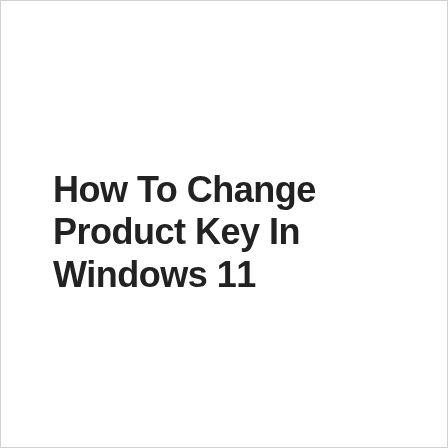How To Change Product Key In Windows 11